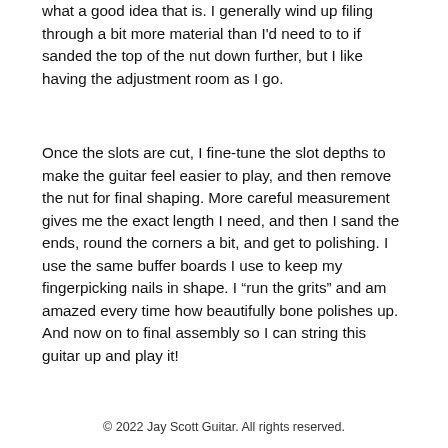what a good idea that is. I generally wind up filing through a bit more material than I'd need to to if sanded the top of the nut down further, but I like having the adjustment room as I go.
Once the slots are cut, I fine-tune the slot depths to make the guitar feel easier to play, and then remove the nut for final shaping. More careful measurement gives me the exact length I need, and then I sand the ends, round the corners a bit, and get to polishing. I use the same buffer boards I use to keep my fingerpicking nails in shape. I “run the grits” and am amazed every time how beautifully bone polishes up. And now on to final assembly so I can string this guitar up and play it!
© 2022 Jay Scott Guitar. All rights reserved.